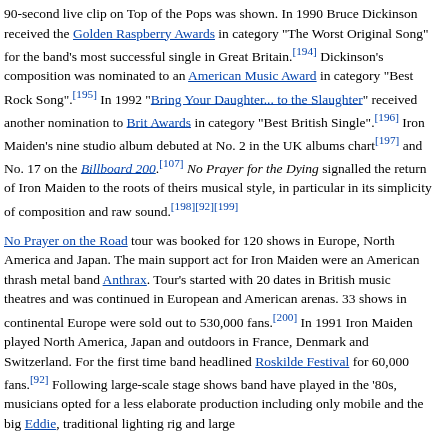90-second live clip on Top of the Pops was shown. In 1990 Bruce Dickinson received the Golden Raspberry Awards in category "The Worst Original Song" for the band's most successful single in Great Britain.[194] Dickinson's composition was nominated to an American Music Award in category "Best Rock Song".[195] In 1992 "Bring Your Daughter... to the Slaughter" received another nomination to Brit Awards in category "Best British Single".[196] Iron Maiden's nine studio album debuted at No. 2 in the UK albums chart[197] and No. 17 on the Billboard 200.[107] No Prayer for the Dying signalled the return of Iron Maiden to the roots of theirs musical style, in particular in its simplicity of composition and raw sound.[198][92][199]
No Prayer on the Road tour was booked for 120 shows in Europe, North America and Japan. The main support act for Iron Maiden were an American thrash metal band Anthrax. Tour's started with 20 dates in British music theatres and was continued in European and American arenas. 33 shows in continental Europe were sold out to 530,000 fans.[200] In 1991 Iron Maiden played North America, Japan and outdoors in France, Denmark and Switzerland. For the first time band headlined Roskilde Festival for 60,000 fans.[92] Following large-scale stage shows band have played in the '80s, musicians opted for a less elaborate production including only mobile and the big Eddie, traditional lighting rig and large